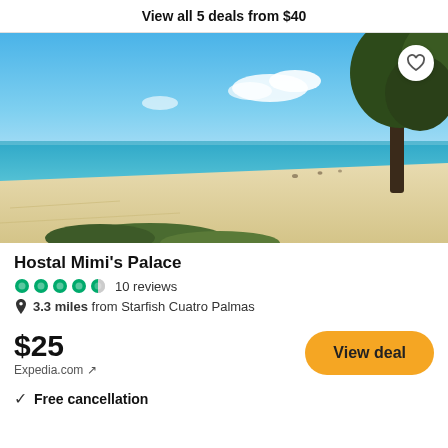View all 5 deals from $40
[Figure (photo): Beach scene with white sand, turquoise water, blue sky with clouds, and trees on the right side]
Hostal Mimi's Palace
10 reviews
3.3 miles from Starfish Cuatro Palmas
$25
Expedia.com ↗
View deal
Free cancellation